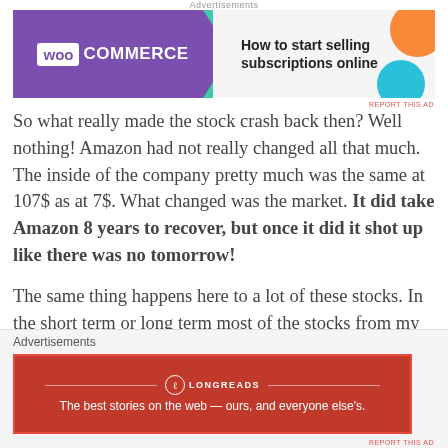[Figure (other): WooCommerce advertisement banner: purple left section with WooCommerce logo and green arrow shape, light gray right section with text 'How to start selling subscriptions online' and decorative orange and teal circles]
So what really made the stock crash back then? Well nothing! Amazon had not really changed all that much. The inside of the company pretty much was the same at 107$ as at 7$. What changed was the market. It did take Amazon 8 years to recover, but once it did it shot up like there was no tomorrow!
The same thing happens here to a lot of these stocks. In the short term or long term most of the stocks from my portfolio didn't change. A few did get bad news, but almost all of them have no reason why they wouldn't
[Figure (other): Longreads advertisement banner: red background with Longreads logo (circle with L), horizontal lines flanking the logo, tagline 'The best stories on the web — ours, and everyone else's.']